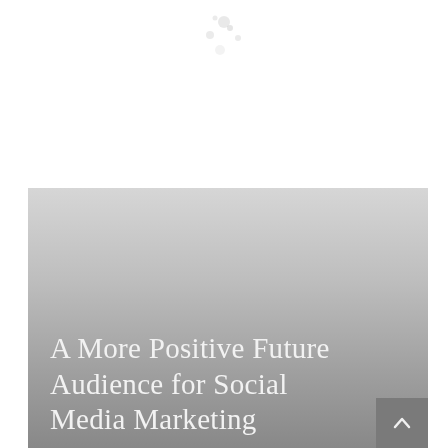[Figure (photo): A large banner/cover image with a grey gradient background fading from light grey at top to darker grey at bottom, representing a social media marketing document cover page.]
A More Positive Future Audience for Social Media Marketing